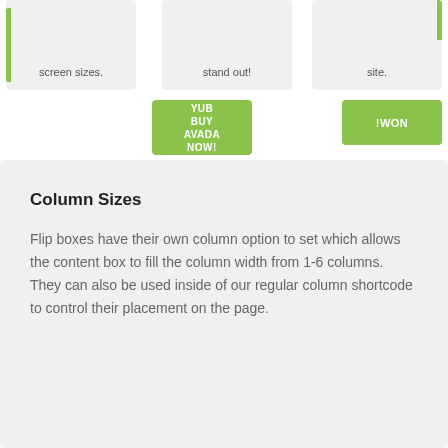[Figure (screenshot): Three UI cards at top: first card with green left border showing 'screen sizes.', second card showing 'stand out!', third card with green right accent showing 'site.']
[Figure (screenshot): Green button centered showing 'BUY AVADA NOW!' and green button right showing '!WON']
Column Sizes
Flip boxes have their own column option to set which allows the content box to fill the column width from 1-6 columns. They can also be used inside of our regular column shortcode to control their placement on the page.